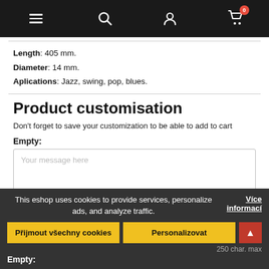Navigation bar with menu, search, user, and cart icons
Length: 405 mm.
Diameter: 14 mm.
Aplications: Jazz, swing, pop, blues.
Product customisation
Don't forget to save your customization to be able to add to cart
Empty:
Your message here
250 char. max
Empty:
This eshop uses cookies to provide services, personalize ads, and analyze traffic.
Více informací
Přijmout všechny cookies
Personalizovat
250 char. max
Empty: